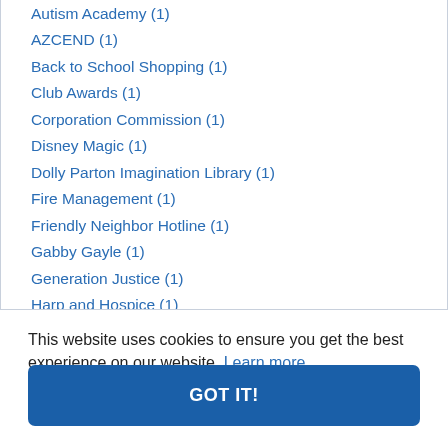Autism Academy (1)
AZCEND (1)
Back to School Shopping (1)
Club Awards (1)
Corporation Commission (1)
Disney Magic (1)
Dolly Parton Imagination Library (1)
Fire Management (1)
Friendly Neighbor Hotline (1)
Gabby Gayle (1)
Generation Justice (1)
Harp and Hospice (1)
Honorary Members (1)
Hospice of the Valley (1)
This website uses cookies to ensure you get the best experience on our website. Learn more
GOT IT!